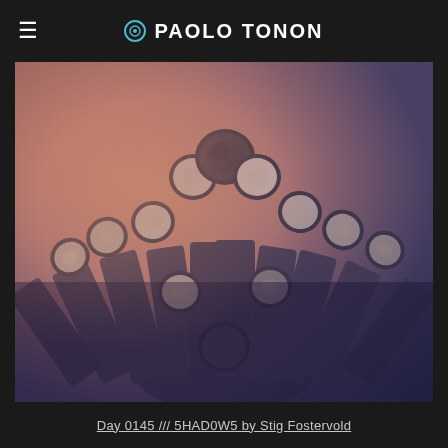☉ PAOLO TONON
[Figure (photo): Artistic photograph of bundled cylindrical tubes viewed from above, with a warm orange-pink and cool blue-purple color gradient overlay. The tubes appear to be cardboard or metal cylinders arranged in a fan/bouquet pattern, showing their circular openings.]
Day 0145 /// 5HAD0W5 by Stig Fostervold